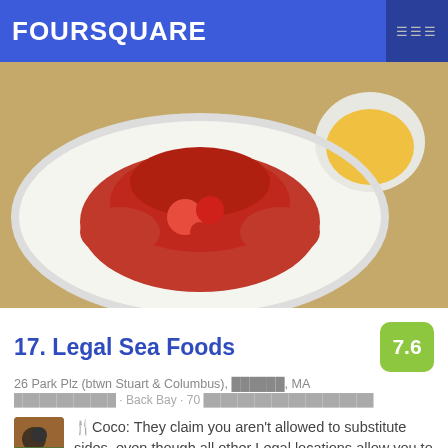FOURSQUARE
[Figure (photo): Close-up photo of cooked lobster on a white plate with a cup of melted butter sauce, restaurant setting]
17. Legal Sea Foods
26 Park Plz (btwn Stuart & Columbus), ██████, MA
████████████ · Back Bay · 70 ████████████████████
🍴Coco: They claim you aren't allowed to substitute sides, even though all other Legal locations allow you to substitute sides.
[Figure (photo): Close-up photo of seafood dish, appears to be shrimp or scallops in sauce, bottom of page]